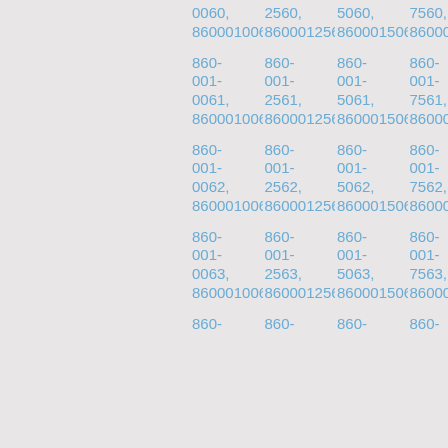0060, 2560, 5060, 7560, 8600010060 8600012560 8600015060 860001 860- 001- 0061, 2561, 5061, 7561, 8600010061 8600012561 8600015061 860001 860- 001- 0062, 2562, 5062, 7562, 8600010062 8600012562 8600015062 860001 860- 001- 0063, 2563, 5063, 7563, 8600010063 8600012563 8600015063 860001 860- 860- 860- 860-